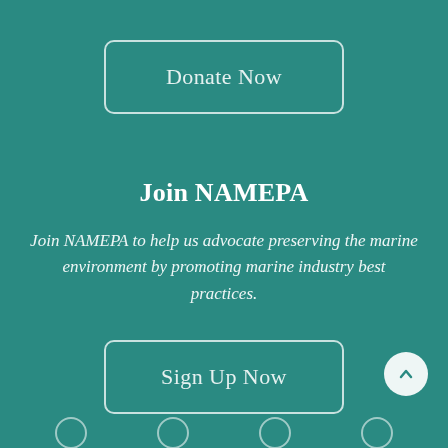Donate Now
Join NAMEPA
Join NAMEPA to help us advocate preserving the marine environment by promoting marine industry best practices.
Sign Up Now